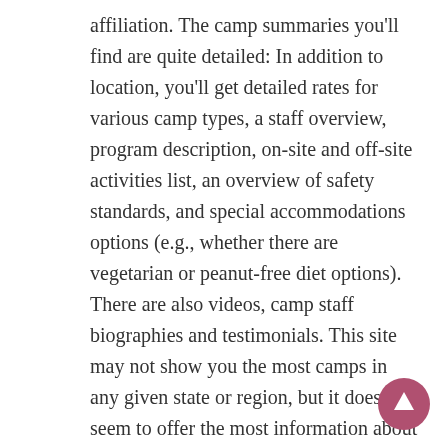affiliation. The camp summaries you'll find are quite detailed: In addition to location, you'll get detailed rates for various camp types, a staff overview, program description, on-site and off-site activities list, an overview of safety standards, and special accommodations options (e.g., whether there are vegetarian or peanut-free diet options). There are also videos, camp staff biographies and testimonials. This site may not show you the most camps in any given state or region, but it does seem to offer the most information about every individual camp listed.